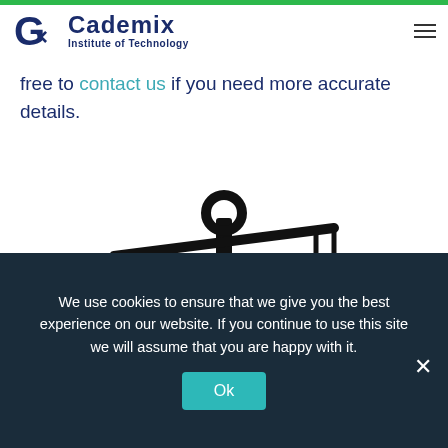Cademix Institute of Technology
free to contact us if you need more accurate details.
[Figure (illustration): A balance scale illustration. The left pan holds a rising line chart (growth/performance graph), and the right pan holds a Euro coin symbol. The scale beam is tilted, suggesting comparison between value/growth and cost.]
We use cookies to ensure that we give you the best experience on our website. If you continue to use this site we will assume that you are happy with it.